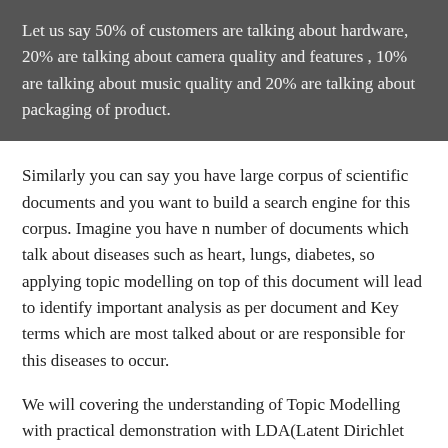Let us say 50% of customers are talking about hardware, 20% are talking about camera quality and features , 10% are talking about music quality and 20% are talking about packaging of product.
Similarly you can say you have large corpus of scientific documents and you want to build a search engine for this corpus. Imagine you have n number of documents which talk about diseases such as heart, lungs, diabetes, so applying topic modelling on top of this document will lead to identify important analysis as per document and Key terms which are most talked about or are responsible for this diseases to occur.
We will covering the understanding of Topic Modelling with practical demonstration with LDA(Latent Dirichlet Allocation)
Advertisements